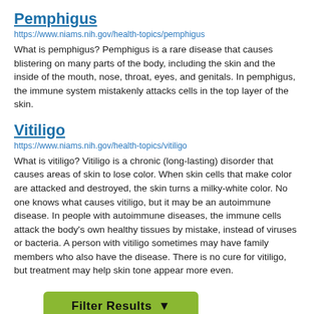Pemphigus
https://www.niams.nih.gov/health-topics/pemphigus
What is pemphigus? Pemphigus is a rare disease that causes blistering on many parts of the body, including the skin and the inside of the mouth, nose, throat, eyes, and genitals. In pemphigus, the immune system mistakenly attacks cells in the top layer of the skin.
Vitiligo
https://www.niams.nih.gov/health-topics/vitiligo
What is vitiligo? Vitiligo is a chronic (long-lasting) disorder that causes areas of skin to lose color. When skin cells that make color are attacked and destroyed, the skin turns a milky-white color. No one knows what causes vitiligo, but it may be an autoimmune disease. In people with autoimmune diseases, the immune cells attack the body's own healthy tissues by mistake, instead of viruses or bacteria. A person with vitiligo sometimes may have family members who also have the disease. There is no cure for vitiligo, but treatment may help skin tone appear more even.
Filter Results